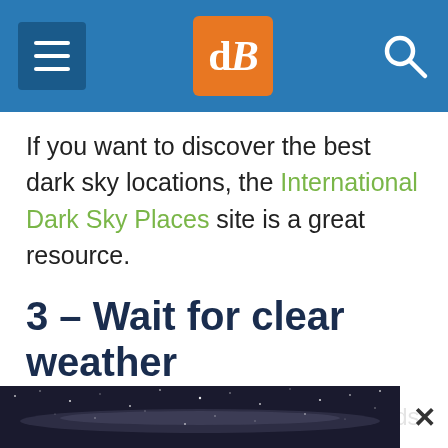dPS website header with hamburger menu, dPS logo, and search icon
If you want to discover the best dark sky locations, the International Dark Sky Places site is a great resource.
3 – Wait for clear weather
Most landscape shooters love clouds and hate blue skies. Once you get into shooting nightscapes, you'll quickly reverse that thinking.
[Figure (photo): Dark night sky / Milky Way photograph shown as advertisement banner at bottom of page with a close (X) button]